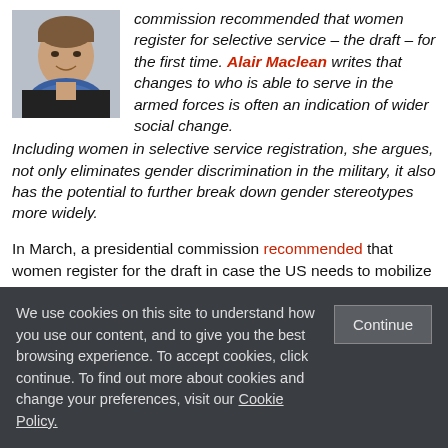[Figure (photo): Headshot photo of a woman with short brown hair wearing a blue scarf and dark jacket, smiling]
commission recommended that women register for selective service – the draft – for the first time. Alair Maclean writes that changes to who is able to serve in the armed forces is often an indication of wider social change. Including women in selective service registration, she argues, not only eliminates gender discrimination in the military, it also has the potential to further break down gender stereotypes more widely.
In March, a presidential commission recommended that women register for the draft in case the US needs to mobilize in an emergency. In doing so, the commission members cited the goal of
We use cookies on this site to understand how you use our content, and to give you the best browsing experience. To accept cookies, click continue. To find out more about cookies and change your preferences, visit our Cookie Policy.